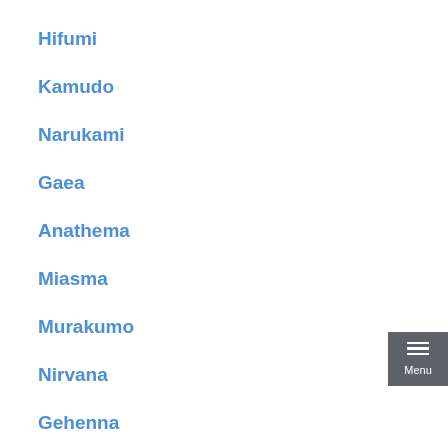Hifumi
Kamudo
Narukami
Gaea
Anathema
Miasma
Murakumo
Nirvana
Gehenna
Geis